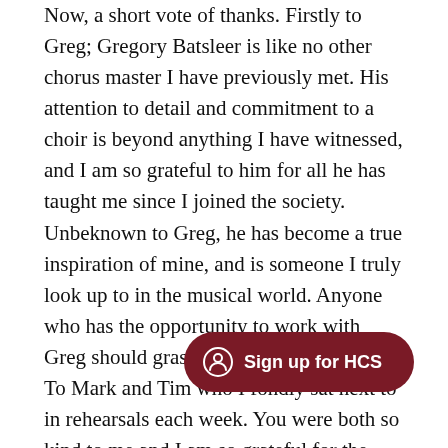Now, a short vote of thanks. Firstly to Greg; Gregory Batsleer is like no other chorus master I have previously met. His attention to detail and commitment to a choir is beyond anything I have witnessed, and I am so grateful to him for all he has taught me since I joined the society. Unbeknown to Greg, he has become a true inspiration of mine, and is someone I truly look up to in the musical world. Anyone who has the opportunity to work with Greg should grasp at it and get stuck in! To Mark and Tim who I fondly sat next to in rehearsals each week. You were both so kind to me and I am so grateful for the many hours we spent singing together. To the committee who work so hard to provide such fantastic opportunities and concerts for each member and subscriber, thank you. To everyone who sings with the Choral and welcomed me, thank you. And to my fellow stu... became great friends and created memories with me that I
[Figure (other): A dark red rounded pill-shaped button with a person/user icon on the left and the text 'Sign up for HCS' in white on the right.]